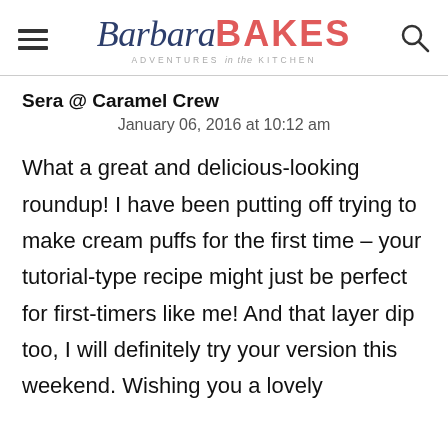Barbara BAKES — Adventures in the Kitchen
Sera @ Caramel Crew
January 06, 2016 at 10:12 am
What a great and delicious-looking roundup! I have been putting off trying to make cream puffs for the first time – your tutorial-type recipe might just be perfect for first-timers like me! And that layer dip too, I will definitely try your version this weekend. Wishing you a lovely